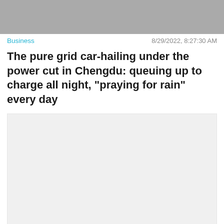[Figure (photo): Gray placeholder image at top of article]
Business   8/29/2022, 8:27:30 AM
The pure grid car-hailing under the power cut in Chengdu: queuing up to charge all night, "praying for rain" every day
[Figure (photo): Light gray placeholder image for article content]
Business   8/29/2022, 8:2...
[Figure (screenshot): Advertisement banner showing 'Hold and Move' game with blue figures and wood background. Includes Close X button overlay and help/close icons.]